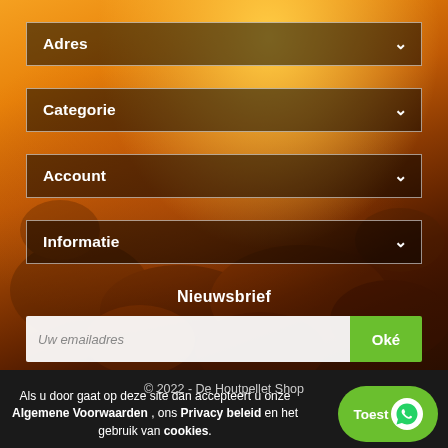[Figure (photo): Background photo of burning wood pellets/embers with orange and red fire glow]
Adres
Categorie
Account
Informatie
Nieuwsbrief
Uw emailadres
Oké
© 2022 - De Houtpellet Shop
Als u door gaat op deze site dan accepteert u onze Algemene Voorwaarden , ons Privacy beleid en het gebruik van cookies.
Toest